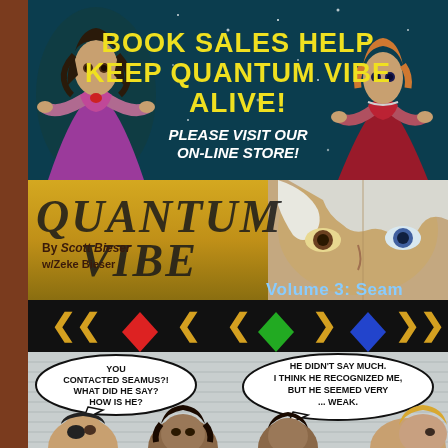[Figure (illustration): Promotional banner for Quantum Vibe comic book store. Dark teal starry background with two female characters on either side (left: purple outfit, right: red dress). Yellow bold text reads 'BOOK SALES HELP KEEP QUANTUM VIBE ALIVE!' and white italic text reads 'PLEASE VISIT OUR ON-LINE STORE!']
[Figure (illustration): Quantum Vibe comic header banner with golden/yellow gradient background. Large stylized 'QUANTUM VIBE' logo text in dark letters. Left side shows 'By Scott Bieser w/Zeke Bieser'. Right side shows 'Volume 3: Seam...' text in blue. Background features close-up face with white/silver hair.]
[Figure (illustration): Navigation bar with black background showing three navigation items. Each item has gold/yellow double angle-bracket arrows and colored diamond shapes: red diamond, green diamond, blue diamond.]
[Figure (illustration): Comic strip panel showing speech bubbles and characters. Left bubble: 'YOU CONTACTED SEAMUS?! WHAT DID HE SAY? HOW IS HE?' Right bubble: 'HE DIDN'T SAY MUCH. I THINK HE RECOGNIZED ME, BUT HE SEEMED VERY ... WEAK.' Four character heads visible at bottom: person with eye patch, dark-haired woman, dark-haired person, blonde person.]